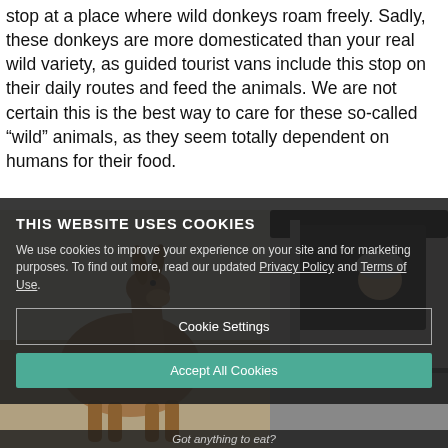stop at a place where wild donkeys roam freely. Sadly, these donkeys are more domesticated than your real wild variety, as guided tourist vans include this stop on their daily routes and feed the animals. We are not certain this is the best way to care for these so-called “wild” animals, as they seem totally dependent on humans for their food.
[Figure (photo): A donkey standing near a tourist van, with a person leaning out of the van window, set against a light sky background.]
THIS WEBSITE USES COOKIES
We use cookies to improve your experience on your site and for marketing purposes. To find out more, read our updated Privacy Policy and Terms of Use.
[Cookie Settings] [Accept All Cookies]
Got anything to eat?